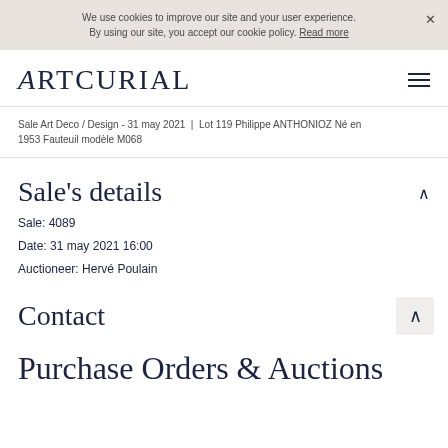We use cookies to improve our site and your user experience. By using our site, you accept our cookie policy. Read more
ARTCURIAL
Sale Art Deco / Design - 31 may 2021 / Lot 119 Philippe ANTHONIOZ Né en 1953 Fauteuil modèle M068
Sale's details
Sale: 4089
Date: 31 may 2021 16:00
Auctioneer: Hervé Poulain
Contact
Purchase Orders & Auctions